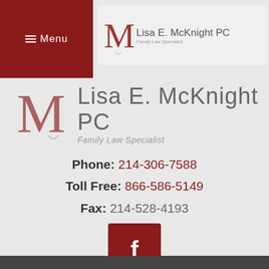[Figure (logo): Lisa E. McKnight PC Family Law Specialist logo — top navigation version, smaller]
[Figure (logo): Lisa E. McKnight PC Family Law Specialist logo — large version with big M and firm name]
Phone: 214-306-7588
Toll Free: 866-586-5149
Fax: 214-528-4193
[Figure (illustration): Dark red square Facebook icon button with white lowercase f]
[Figure (illustration): Gray scroll-to-top button with upward chevron arrow]
Review Us